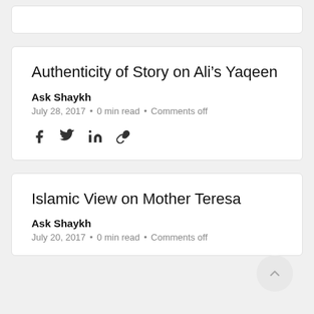Authenticity of Story on Ali's Yaqeen
Ask Shaykh
July 28, 2017 • 0 min read • Comments off
Islamic View on Mother Teresa
Ask Shaykh
July 20, 2017 • 0 min read • Comments off